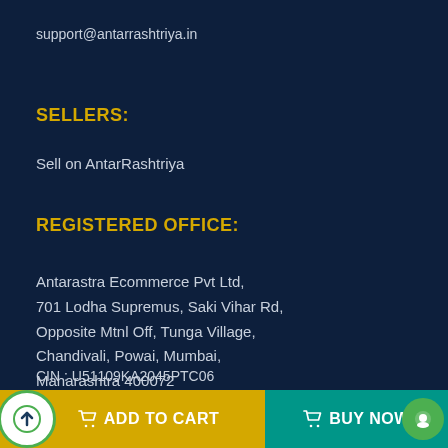support@antarrashtriya.in
SELLERS:
Sell on AntarRashtriya
REGISTERED OFFICE:
Antarastra Ecommerce Pvt Ltd,
701 Lodha Supremus, Saki Vihar Rd,
Opposite Mtnl Off, Tunga Village,
Chandivali, Powai, Mumbai,
Maharashtra 400072
CIN : U51109KA2045PTC06
Telephone: +0-22-40020645
ADD TO CART
BUY NOW